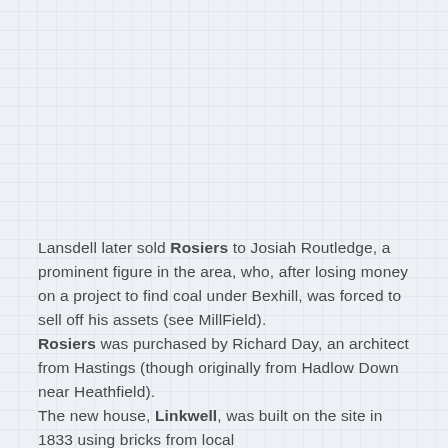[Figure (photo): Top portion of the page showing a light blue-grey textured/grid background — the upper section of the document page with no visible image content, only the background texture.]
Lansdell later sold Rosiers to Josiah Routledge, a prominent figure in the area, who, after losing money on a project to find coal under Bexhill, was forced to sell off his assets (see MillField).
Rosiers was purchased by Richard Day, an architect from Hastings (though originally from Hadlow Down near Heathfield).
The new house, Linkwell, was built on the site in 1833 using bricks from local